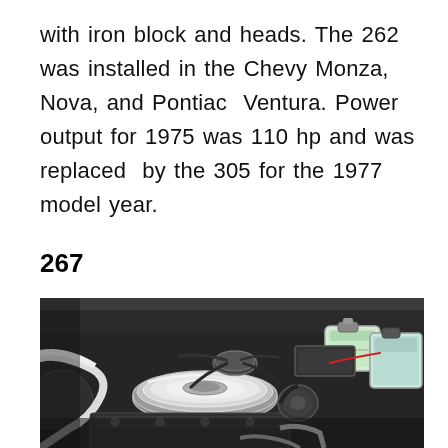with iron block and heads. The 262 was installed in the Chevy Monza, Nova, and Pontiac Ventura. Power output for 1975 was 110 hp and was replaced by the 305 for the 1977 model year.
267
[Figure (photo): Photograph of a car engine bay showing a V8 engine with a chrome air cleaner/carburetor cover, various hoses, and engine components including what appears to be a brake master cylinder reservoir in the upper right.]